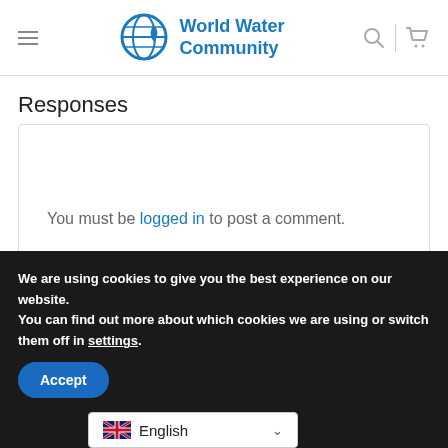World Water Community
Responses
You must be logged in to post a comment.
We are using cookies to give you the best experience on our website.
You can find out more about which cookies we are using or switch them off in settings.
Accept
English